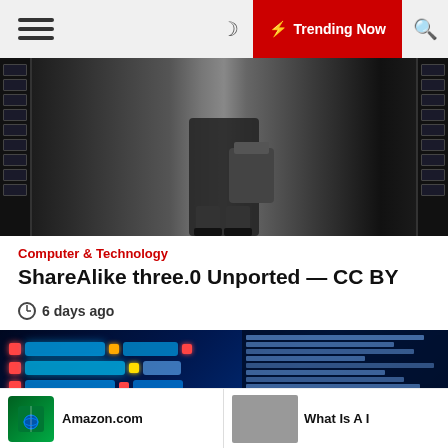☰  🌙  ⚡ Trending Now  🔍
[Figure (photo): Person in server room holding a laptop bag, walking between server racks]
Computer & Technology
ShareAlike three.0 Unported — CC BY
⊙ 6 days ago
[Figure (photo): Blue-toned image of glowing blockchain/programming code blocks with shutterstock watermark]
Computer & Technology
Amazon.com
What Is A I